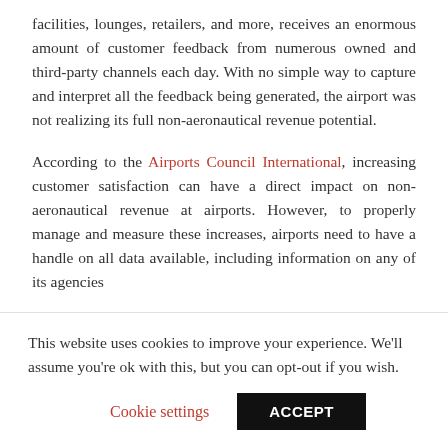facilities, lounges, retailers, and more, receives an enormous amount of customer feedback from numerous owned and third-party channels each day. With no simple way to capture and interpret all the feedback being generated, the airport was not realizing its full non-aeronautical revenue potential.
According to the Airports Council International, increasing customer satisfaction can have a direct impact on non-aeronautical revenue at airports. However, to properly manage and measure these increases, airports need to have a handle on all data available, including information on any of its agencies
This website uses cookies to improve your experience. We'll assume you're ok with this, but you can opt-out if you wish.
Cookie settings | ACCEPT